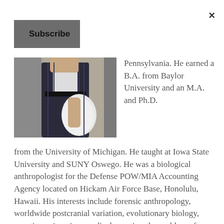×
Subscribe
[Figure (photo): A person in formal attire holding papers, viewed from the side]
Pennsylvania. He earned a B.A. from Baylor University and an M.A. and Ph.D.
from the University of Michigan. He taught at Iowa State University and SUNY Oswego. He was a biological anthropologist for the Defense POW/MIA Accounting Agency located on Hickam Air Force Base, Honolulu, Hawaii. His interests include forensic anthropology, worldwide postcranial variation, evolutionary biology, genetic engineering, medical genetics, the problem of species, and the evolution of human diseases